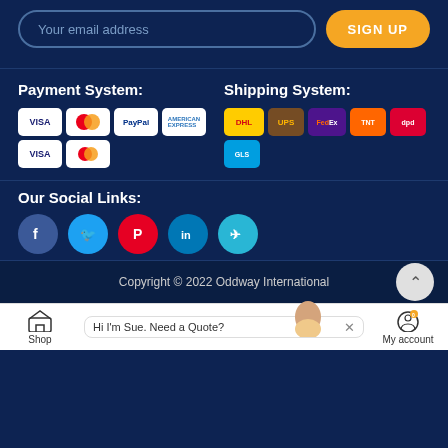Your email address
SIGN UP
Payment System:
[Figure (logo): Payment logos: VISA, Mastercard, PayPal, American Express, VISA, Mastercard]
Shipping System:
[Figure (logo): Shipping logos: DHL, UPS, FedEx, TNT, DPD, GLS]
Our Social Links:
[Figure (infographic): Social media icons: Facebook, Twitter, Pinterest, LinkedIn, Telegram]
Copyright © 2022 Oddway International
Hi I'm Sue. Need a Quote?
Shop
My account